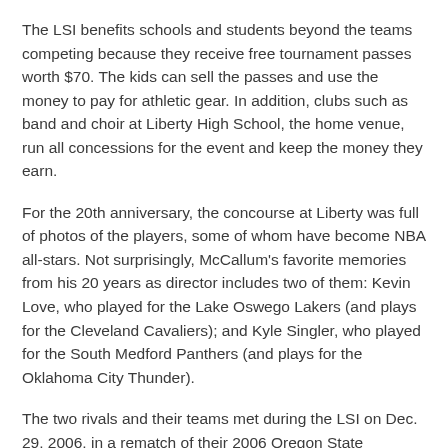The LSI benefits schools and students beyond the teams competing because they receive free tournament passes worth $70. The kids can sell the passes and use the money to pay for athletic gear. In addition, clubs such as band and choir at Liberty High School, the home venue, run all concessions for the event and keep the money they earn.
For the 20th anniversary, the concourse at Liberty was full of photos of the players, some of whom have become NBA all-stars. Not surprisingly, McCallum's favorite memories from his 20 years as director includes two of them: Kevin Love, who played for the Lake Oswego Lakers (and plays for the Cleveland Cavaliers); and Kyle Singler, who played for the South Medford Panthers (and plays for the Oklahoma City Thunder).
The two rivals and their teams met during the LSI on Dec. 29, 2006, in a rematch of their 2006 Oregon State Championship final. The defending state champion Lake Oswego Lakers battled the South Medford Panthers in front of the biggest crowd ever assembled at Liberty High School,